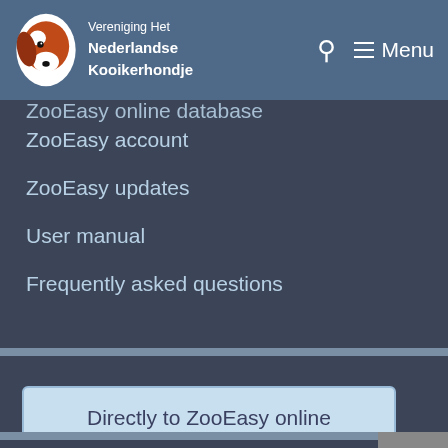Vereniging Het Nederlandse Kooikerhondje
ZooEasy online database
ZooEasy account
ZooEasy updates
User manual
Frequently asked questions
Directly to ZooEasy online
Events